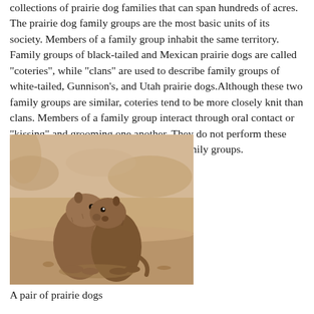collections of prairie dog families that can span hundreds of acres. The prairie dog family groups are the most basic units of its society. Members of a family group inhabit the same territory. Family groups of black-tailed and Mexican prairie dogs are called "coteries", while "clans" are used to describe family groups of white-tailed, Gunnison's, and Utah prairie dogs.Although these two family groups are similar, coteries tend to be more closely knit than clans. Members of a family group interact through oral contact or "kissing" and grooming one another. They do not perform these behaviors with prairie dogs from other family groups.
[Figure (photo): Two prairie dogs standing upright and appearing to kiss or touch noses/mouths, photographed outdoors on sandy ground with blurred background.]
A pair of prairie dogs